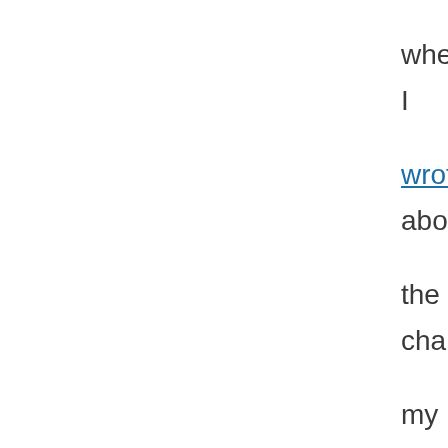when I wrote about the chance my wife and I had to talk with a Slovenian lawyer about the break up of Yugoslavia. He talked about how the politicians, when they could no longer use communism to appeal for votes, switched to nationalism.